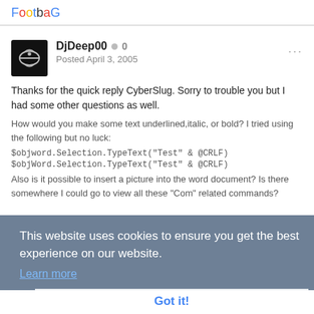FootbaG
DjDeep00 • 0
Posted April 3, 2005
Thanks for the quick reply CyberSlug. Sorry to trouble you but I had some other questions as well.
How would you make some text underlined,italic, or bold? I tried using the following but no luck:
$objword.Selection.TypeText("Test" & @CRLF)
$objWord.Selection.TypeText("Test" & @CRLF)
This website uses cookies to ensure you get the best experience on our website.
Learn more
Got it!
Also is it possible to insert a picture into the word document? Is there somewhere I could go to view all these "Com" related commands?